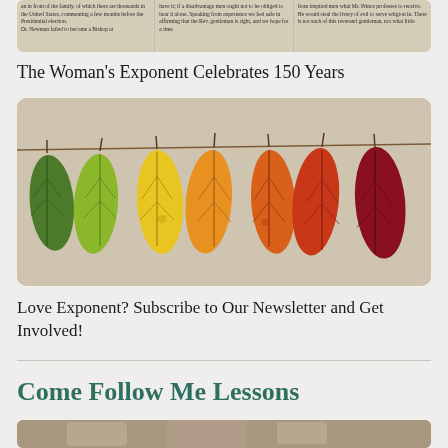[Figure (photo): Newspaper clipping with three columns of small text, showing old printed text in a vintage style]
The Woman's Exponent Celebrates 150 Years
[Figure (photo): Eight autumn leaves in gradient from green to dark red, hanging on a string against a beige background]
Love Exponent? Subscribe to Our Newsletter and Get Involved!
Come Follow Me Lessons
[Figure (photo): Partial view of a photo at the bottom of the page, partially cropped]